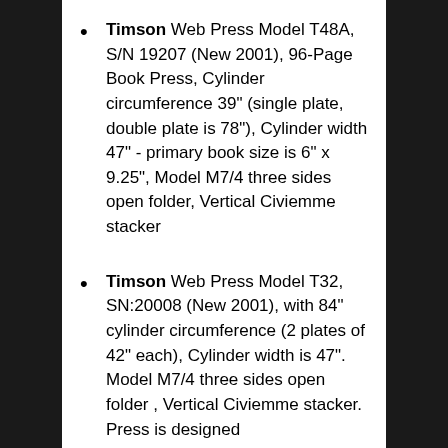Timson Web Press Model T48A, S/N 19207 (New 2001), 96-Page Book Press, Cylinder circumference 39" (single plate, double plate is 78"), Cylinder width 47" - primary book size is 6" x 9.25", Model M7/4 three sides open folder, Vertical Civiemme stacker
Timson Web Press Model T32, SN:20008 (New 2001), with 84" cylinder circumference (2 plates of 42" each), Cylinder width is 47". Model M7/4 three sides open folder , Vertical Civiemme stacker. Press is designed